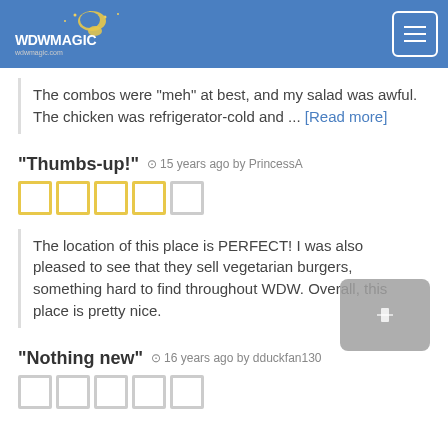WDWMagic.com - [partial title visible] took a Chicken Caesar Salad
The combos were "meh" at best, and my salad was awful. The chicken was refrigerator-cold and ... [Read more]
"Thumbs-up!" 15 years ago by PrincessA
[Figure (other): 4 yellow outlined star boxes and 1 light grey outlined star box — star rating display]
The location of this place is PERFECT! I was also pleased to see that they sell vegetarian burgers, something hard to find throughout WDW. Overall, this place is pretty nice.
"Nothing new" 16 years ago by dduckfan130
[Figure (other): 5 light grey outlined star boxes — star rating display]